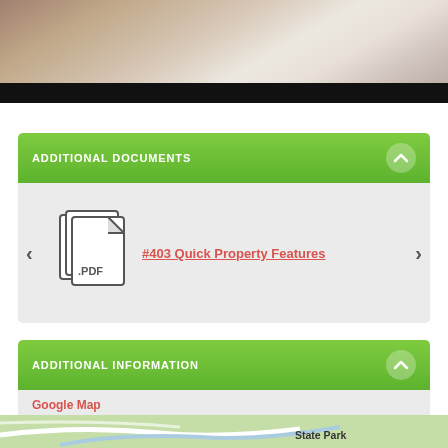[Figure (photo): Partial view of a room interior with fabric/clothing items visible, partially cropped at top. Bottom portion shows black bar.]
ADDITIONAL DOCUMENTS
[Figure (illustration): PDF file icon with '.PDF' label]
#403 Quick Property Features
ADDITIONAL INFORMATION
Google Map
[Figure (map): Partial Google Map preview showing green area labeled 'State Park']